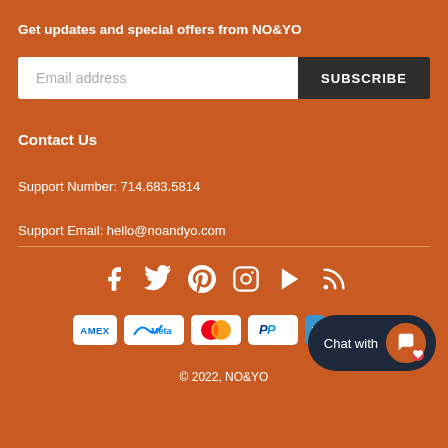Get updates and special offers from NO&YO
[Figure (infographic): Email subscription form with white input field labeled 'Email address' and dark grey SUBSCRIBE button]
Contact Us
Support Number: 714.683.5814
Support Email: hello@noandyo.com
[Figure (infographic): Social media icons row: Facebook, Twitter, Pinterest, Instagram, YouTube, RSS]
[Figure (infographic): Payment method badges: American Express, Meta Pay, Mastercard, PayPal, Venmo, Visa]
© 2022, NO&YO